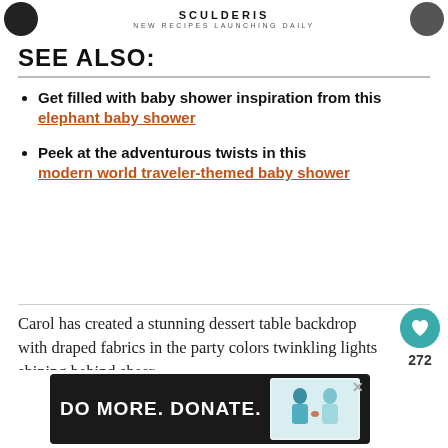NEW RECIPES LAUNCHING DAILY
SEE ALSO:
Get filled with baby shower inspiration from this elephant baby shower
Peek at the adventurous twists in this modern world traveler-themed baby shower
Carol has created a stunning dessert table backdrop with draped fabrics in the party colors twinkling lights shining behind sheer
DO MORE. DONATE.